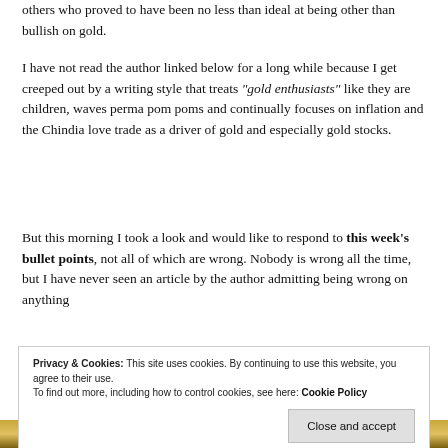others who proved to have been no less than ideal at being other than bullish on gold.
I have not read the author linked below for a long while because I get creeped out by a writing style that treats “gold enthusiasts” like they are children, waves perma pom poms and continually focuses on inflation and the Chindia love trade as a driver of gold and especially gold stocks.
But this morning I took a look and would like to respond to this week’s bullet points, not all of which are wrong. Nobody is wrong all the time, but I have never seen an article by the author admitting being wrong on anything
Privacy & Cookies: This site uses cookies. By continuing to use this website, you agree to their use. To find out more, including how to control cookies, see here: Cookie Policy Close and accept
[Figure (photo): Partial image of gold coins or gold-colored objects visible at the bottom of the page]